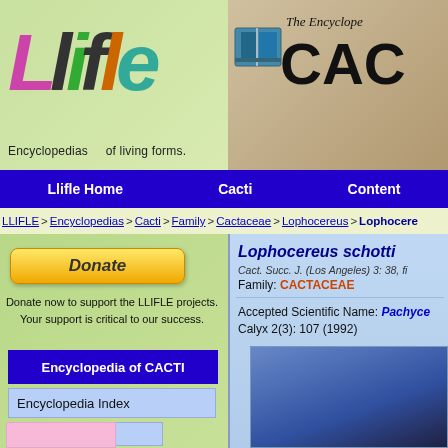[Figure (logo): Llifle logo with colorful stylized letters and tagline 'Encyclopedias of living forms.']
[Figure (logo): The Encyclopedia of CACTI logo with book icon and cactus flower background]
Llifle Home | Cacti | Content
LLIFLE > Encyclopedias > Cacti > Family > Cactaceae > Lophocereus > Lophocere...
[Figure (other): Donate button (PayPal style gold button with italic 'Donate' text)]
Donate now to support the LLIFLE projects. Your support is critical to our success.
Encyclopedia of CACTI
Encyclopedia Index
es
Lophocereus schotti...
Cact. Succ. J. (Los Angeles) 3: 38, fi...
Family: CACTACEAE
Accepted Scientific Name: Pachyce... Calyx 2(3): 107 (1992)
[Figure (photo): Photo of Lophocereus schottii cactus (partially visible, blue/dark background)]